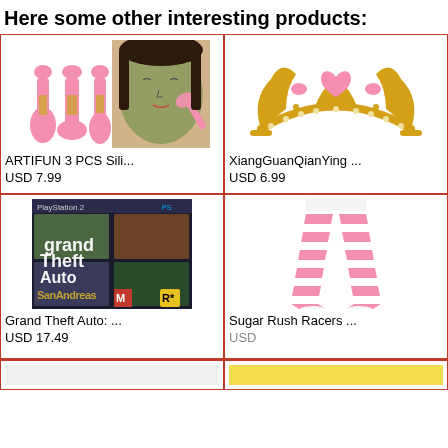Here some other interesting products:
[Figure (photo): ARTIFUN 3 PCS silicone makeup brushes (pink) and woman with face mask using pink brush]
ARTIFUN 3 PCS Sili...
USD 7.99
[Figure (photo): XiangGuanQianYing gold princess tiara crown with pink heart gems]
XiangGuanQianYing ...
USD 6.99
[Figure (photo): Grand Theft Auto: San Andreas PlayStation 2 game cover]
Grand Theft Auto: ...
USD 17.49
[Figure (photo): Pink and white striped leggings on a model]
Sugar Rush Racers ...
USD
[Figure (photo): Partially visible product at bottom left]
[Figure (photo): Partially visible product at bottom right]